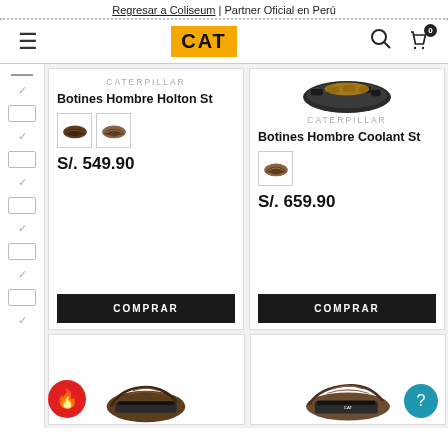Regresar a Coliseum | Partner Oficial en Perú
[Figure (screenshot): CAT Caterpillar e-commerce navigation bar with hamburger menu, CAT logo, search and cart icons]
[Figure (screenshot): Product card: CATERPILLAR Botines Hombre Holton St, two color swatches (dark brown, medium brown), price S/. 549.90, COMPRAR button]
[Figure (screenshot): Product card: CATERPILLAR Botines Hombre Coolant St, one color swatch (brown), price S/. 659.90, COMPRAR button; boot sole image visible at top]
[Figure (screenshot): Partial bottom product cards with boot images, not fully visible]